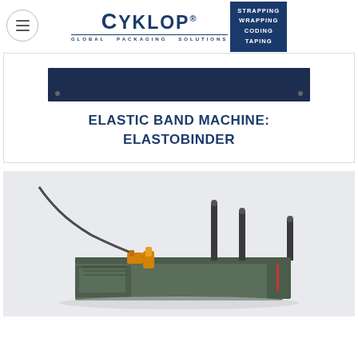[Figure (logo): Cyklop Global Packaging Solutions logo with menu button, brand name, and badge reading STRAPPING WRAPPING CODING TAPING]
[Figure (photo): Dark navy blue rectangular banner/plate with two small screw holes visible]
ELASTIC BAND MACHINE: ELASTOBINDER
[Figure (photo): Elastobinder elastic band machine — a green/grey industrial machine with vertical pins and cable attachments on a light grey background]